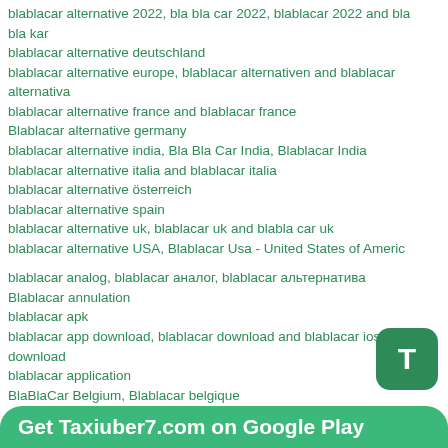blablacar alternative 2022, bla bla car 2022, blablacar 2022 and bla bla kar
blablacar alternative deutschland
blablacar alternative europe, blablacar alternativen and blablacar alternativa
blablacar alternative france and blablacar france
Blablacar alternative germany
blablacar alternative india, Bla Bla Car India, Blablacar India
blablacar alternative italia and blablacar italia
blablacar alternative österreich
blablacar alternative spain
blablacar alternative uk, blablacar uk and blabla car uk
blablacar alternative USA, Blablacar Usa - United States of America
blablacar analog, blablacar аналог, blablacar альтернатива
Blablacar annulation
blablacar apk
blablacar app download, blablacar download and blablacar ios download
blablacar application
BlaBlaCar Belgium, Blablacar belgique
Blablacar booking
Blablacar Bus
Blablacar bus
Blablacar Canada, Blab Blablear Canada
Get Taxiuber7.com on Google Play